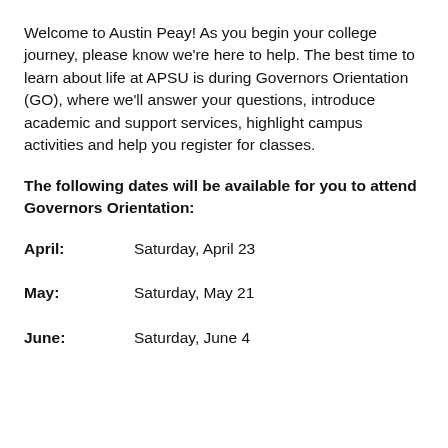Welcome to Austin Peay! As you begin your college journey, please know we're here to help. The best time to learn about life at APSU is during Governors Orientation (GO), where we'll answer your questions, introduce academic and support services, highlight campus activities and help you register for classes.
The following dates will be available for you to attend Governors Orientation:
April: Saturday, April 23
May: Saturday, May 21
June: Saturday, June 4